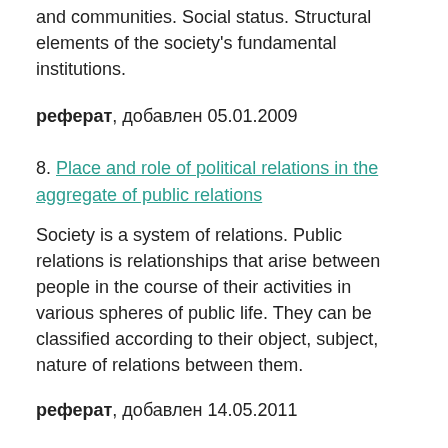and communities. Social status. Structural elements of the society's fundamental institutions.
реферат, добавлен 05.01.2009
8. Place and role of political relations in the aggregate of public relations
Society is a system of relations. Public relations is relationships that arise between people in the course of their activities in various spheres of public life. They can be classified according to their object, subject, nature of relations between them.
реферат, добавлен 14.05.2011
9. The origins of the International Socialists
The first Marxist Workers Group meeting and the first SWAG conference. Some important achievements. Publishing the battler. Major problems. The Toma dispute. Regroupment discussions. Constitutional